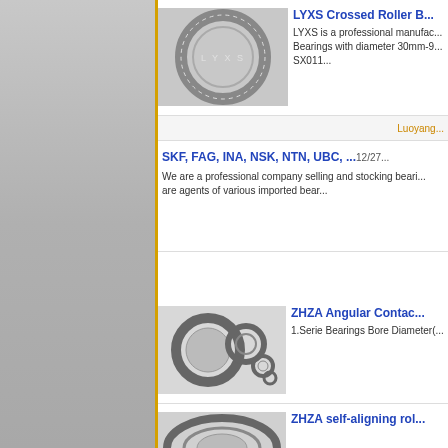[Figure (photo): Crossed roller bearing ring with LYXS engraved text, metallic, circular shape on grey background]
LYXS Crossed Roller B...
LYXS is a professional manufac... Bearings with diameter 30mm-9... SX011...
Luoyang...
SKF, FAG, INA, NSK, NTN, UBC, ... 12/27...
We are a professional company selling and stocking beari... are agents of various imported bear...
[Figure (photo): Angular contact bearings in various sizes, metallic, arranged on white background]
ZHZA Angular Contac...
1.Serie Bearings Bore Diameter(...
[Figure (photo): Self-aligning roller bearing, metallic, partially visible at bottom of page]
ZHZA self-aligning rol...